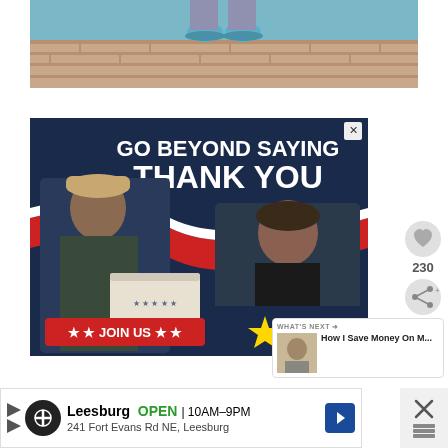[Figure (photo): Top portion of a photo showing feet/shoes on a brick surface with teal/turquoise colored shoes visible]
[Figure (photo): Advertisement for Operation Gratitude showing a military service member in camouflage receiving a care package box from a civilian woman. Text reads 'GO BEYOND SAYING THANK YOU' and 'JOIN US' with stars. Operation Gratitude logo visible.]
[Figure (photo): WHAT'S NEXT panel showing thumbnail and text 'How I Save Money On M...']
[Figure (infographic): Bottom advertisement for Leesburg store showing: circle icon, 'Leesburg OPEN 10AM-9PM', '241 Fort Evans Rd NE, Leesburg', navigation arrow icon. Close X button on right.]